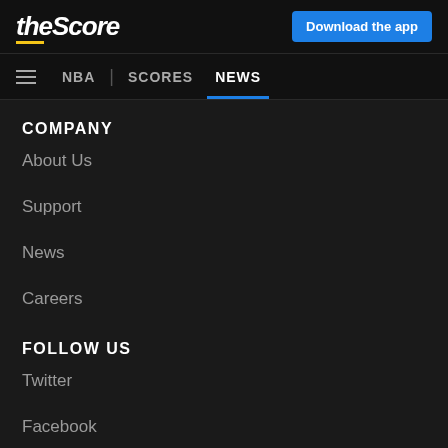theScore | Download the app
NBA | SCORES NEWS
COMPANY
About Us
Support
News
Careers
FOLLOW US
Twitter
Facebook
Instagram
TikTok